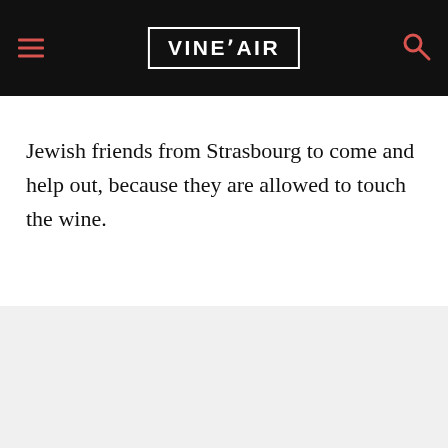VINEPAIR
Jewish friends from Strasbourg to come and help out, because they are allowed to touch the wine.